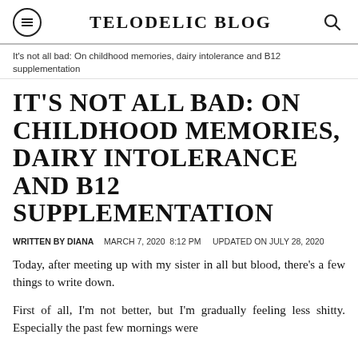TELODELIC BLOG
It's not all bad: On childhood memories, dairy intolerance and B12 supplementation
IT'S NOT ALL BAD: ON CHILDHOOD MEMORIES, DAIRY INTOLERANCE AND B12 SUPPLEMENTATION
WRITTEN BY DIANA   MARCH 7, 2020  8:12 PM   UPDATED ON JULY 28, 2020
Today, after meeting up with my sister in all but blood, there's a few things to write down.
First of all, I'm not better, but I'm gradually feeling less shitty. Especially the past few mornings were